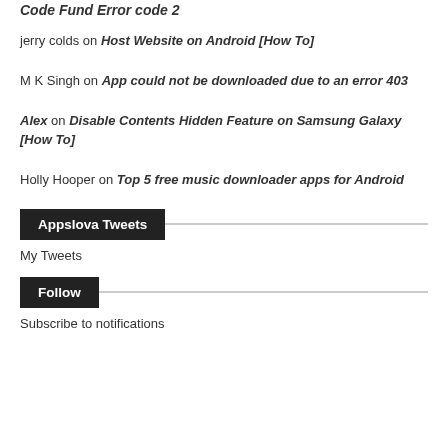Code Fund Error code 2
jerry colds on Host Website on Android [How To]
M K Singh on App could not be downloaded due to an error 403
Alex on Disable Contents Hidden Feature on Samsung Galaxy [How To]
Holly Hooper on Top 5 free music downloader apps for Android
Appslova Tweets
My Tweets
Follow
Subscribe to notifications